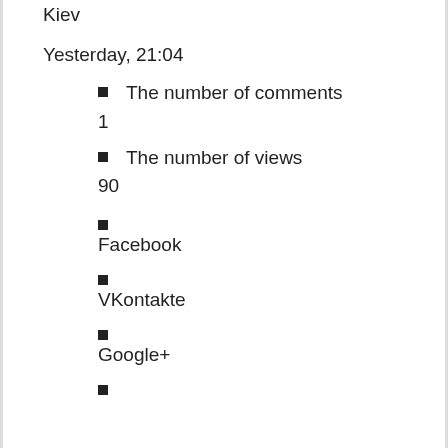Kiev
Yesterday, 21:04
The number of comments
1
The number of views
90
Facebook
VKontakte
Google+